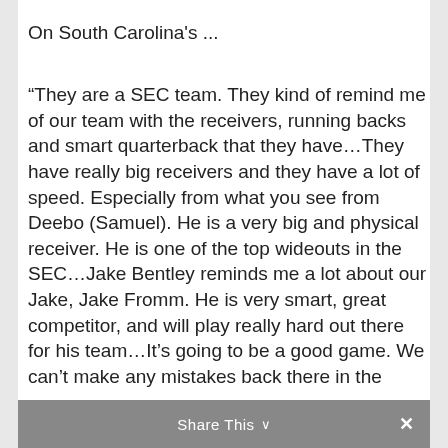On South Carolina's …
“They are a SEC team. They kind of remind me of our team with the receivers, running backs and smart quarterback that they have…They have really big receivers and they have a lot of speed. Especially from what you see from Deebo (Samuel). He is a very big and physical receiver. He is one of the top wideouts in the SEC…Jake Bentley reminds me a lot about our Jake, Jake Fromm. He is very smart, great competitor, and will play really hard out there for his team…It’s going to be a good game. We can’t make any mistakes back there in the secondary…As long as we stay in
Share This